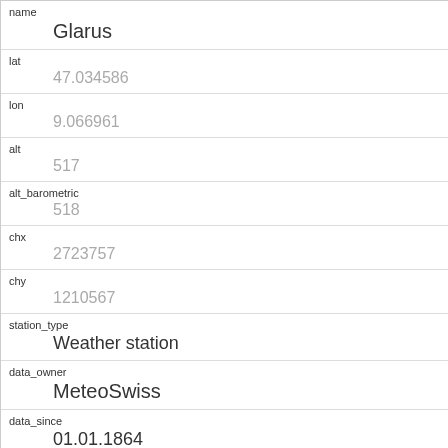| key | value |
| --- | --- |
| name | Glarus |
| lat | 47.034586 |
| lon | 9.066961 |
| alt | 517 |
| alt_barometric | 518 |
| chx | 2723757 |
| chy | 1210567 |
| station_type | Weather station |
| data_owner | MeteoSwiss |
| data_since | 01.01.1864 |